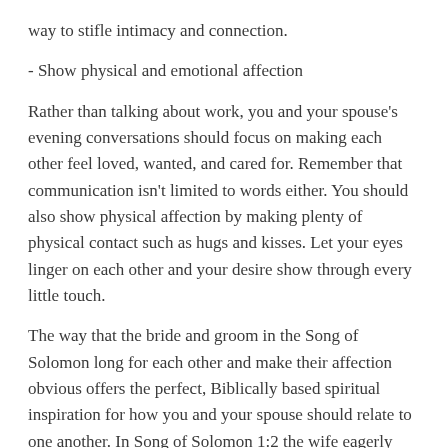way to stifle intimacy and connection.
- Show physical and emotional affection
Rather than talking about work, you and your spouse's evening conversations should focus on making each other feel loved, wanted, and cared for. Remember that communication isn't limited to words either. You should also show physical affection by making plenty of physical contact such as hugs and kisses. Let your eyes linger on each other and your desire show through every little touch.
The way that the bride and groom in the Song of Solomon long for each other and make their affection obvious offers the perfect, Biblically based spiritual inspiration for how you and your spouse should relate to one another. In Song of Solomon 1:2 the wife eagerly exclaims, "let him kiss me with the kisses of his mouth! For your love is better than wine."